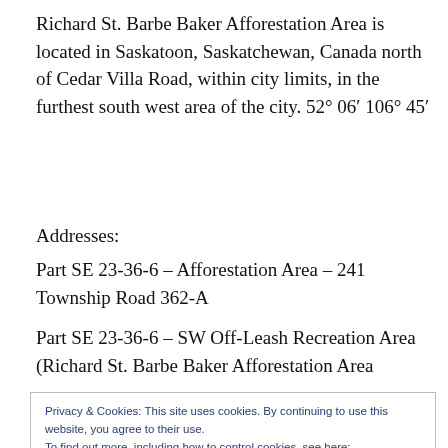Richard St. Barbe Baker Afforestation Area is located in Saskatoon, Saskatchewan, Canada north of Cedar Villa Road, within city limits, in the furthest south west area of the city. 52° 06′ 106° 45′
Addresses:
Part SE 23-36-6 – Afforestation Area – 241 Township Road 362-A
Part SE 23-36-6 – SW Off-Leash Recreation Area (Richard St. Barbe Baker Afforestation Area) – 255 Township Road 362-A
Privacy & Cookies: This site uses cookies. By continuing to use this website, you agree to their use.
To find out more, including how to control cookies, see here:
Cookie Policy
Area – 133 Range Road 3063